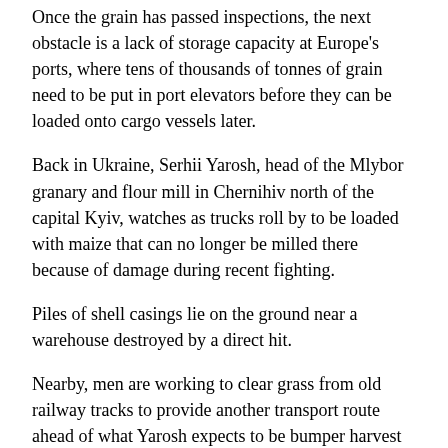Once the grain has passed inspections, the next obstacle is a lack of storage capacity at Europe's ports, where tens of thousands of tonnes of grain need to be put in port elevators before they can be loaded onto cargo vessels later.
Back in Ukraine, Serhii Yarosh, head of the Mlybor granary and flour mill in Chernihiv north of the capital Kyiv, watches as trucks roll by to be loaded with maize that can no longer be milled there because of damage during recent fighting.
Piles of shell casings lie on the ground near a warehouse destroyed by a direct hit.
Nearby, men are working to clear grass from old railway tracks to provide another transport route ahead of what Yarosh expects to be bumper harvest from fields pockmarked with craters from shelling.
"The quality on the fields is very good," he said. "The winter frosts didn't have a negative impact. Thus we expect a very nice harvest. The harvest has to be good."
"If the international community actually cares for the people in other countries, we have to start thinking together about how to solve the